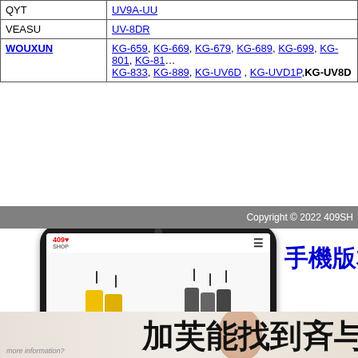| Brand | Models |
| --- | --- |
| QYT | UV9A-UU |
| VEASU | UV-8DR |
| WOUXUN | KG-659, KG-669, KG-679, KG-689, KG-699, KG-801, KG-81x, KG-833, KG-889, KG-UV6D, KG-UVD1P, KG-UV8D |
Copyright © 2022 409SH
[Figure (screenshot): Mobile phone mockup showing 409Shop website with walkie-talkies]
手機版本
[Figure (photo): Bottom banner with Chinese text '加芙能找到斉与' and 'more information?' text over a light background with a person's face partially visible]